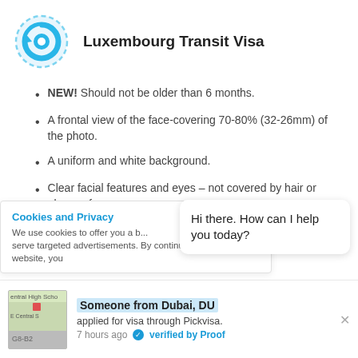[Figure (logo): Circular logo with blue ring and white arrow/refresh icon on light blue background]
Luxembourg Transit Visa
NEW! Should not be older than 6 months.
A frontal view of the face-covering 70-80% (32-26mm) of the photo.
A uniform and white background.
Clear facial features and eyes – not covered by hair or glasses frame.
4. ID Card
Cookies and Privacy
We use cookies to offer you a b... serve targeted advertisements. By continuing to use this website, you
Hi there. How can I help you today?
Someone from Dubai, DU
applied for visa through Pickvisa.
7 hours ago  verified by Proof